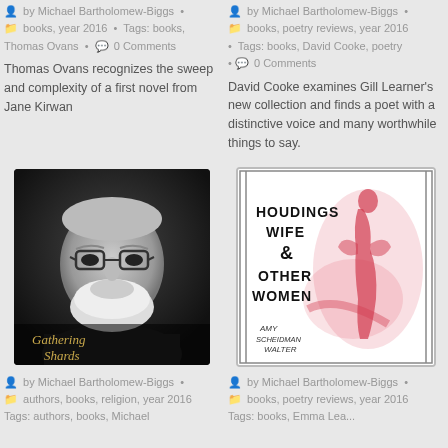by Michael Bartholomew-Biggs • books, year 2016 • Tags: books, Thomas Ovans • 0 Comments
by Michael Bartholomew-Biggs • books, poetry reviews, year 2016 • Tags: books, David Cooke, poetry • 0 Comments
Thomas Ovans recognizes the sweep and complexity of a first novel from Jane Kirwan
David Cooke examines Gill Learner's new collection and finds a poet with a distinctive voice and many worthwhile things to say.
[Figure (photo): Black and white portrait photo of an elderly man with glasses and white beard, with 'Gathering Shards' text overlay at bottom]
[Figure (illustration): Book cover for 'Houdings Wife & Other Women' by Amy Scheidman Walter, featuring a stylized figure of a woman in red/pink]
by Michael Bartholomew-Biggs • authors, books, religion, year 2016 • Tags: authors, books, Michael
by Michael Bartholomew-Biggs • books, poetry reviews, year 2016 • Tags: books, Emma Leas...